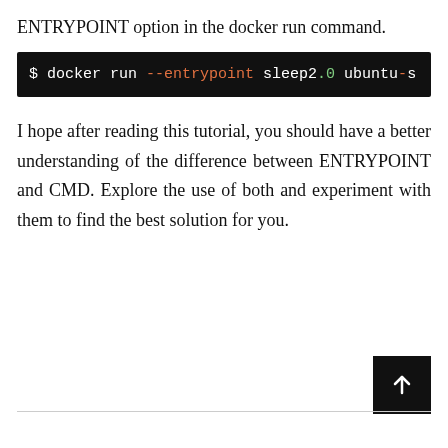ENTRYPOINT option in the docker run command.
[Figure (screenshot): Terminal code block showing: $ docker run --entrypoint sleep2.0 ubuntu-s]
I hope after reading this tutorial, you should have a better understanding of the difference between ENTRYPOINT and CMD. Explore the use of both and experiment with them to find the best solution for you.